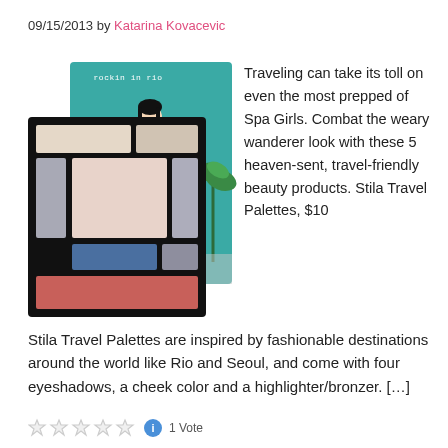09/15/2013 by Katarina Kovacevic
[Figure (photo): Stila Travel Palette makeup product — a black palette with eyeshadows, cheek color and highlighter, alongside a teal illustrated packaging card featuring a fashionable woman figure with palm trees and the text 'rockin in rio' and 'stila']
Traveling can take its toll on even the most prepped of Spa Girls. Combat the weary wanderer look with these 5 heaven-sent, travel-friendly beauty products. Stila Travel Palettes, $10 Stila Travel Palettes are inspired by fashionable destinations around the world like Rio and Seoul, and come with four eyeshadows, a cheek color and a highlighter/bronzer. […]
1 Vote